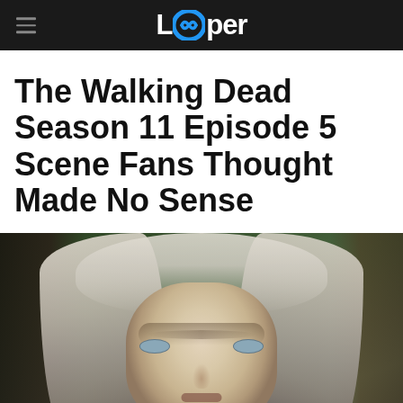Looper
The Walking Dead Season 11 Episode 5 Scene Fans Thought Made No Sense
[Figure (photo): Close-up photo of a woman with long, disheveled gray-white hair looking directly at the camera with a serious expression, against a blurred green outdoor background. The image appears to be from The Walking Dead TV show.]